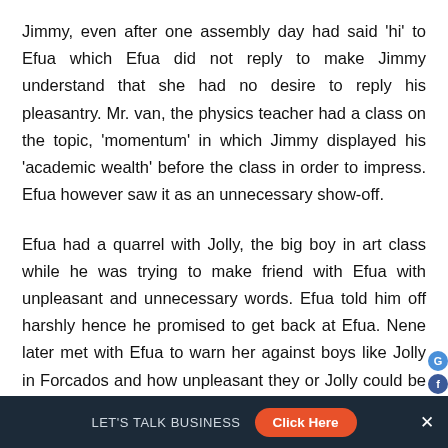Jimmy, even after one assembly day had said 'hi' to Efua which Efua did not reply to make Jimmy understand that she had no desire to reply his pleasantry. Mr. van, the physics teacher had a class on the topic, 'momentum' in which Jimmy displayed his 'academic wealth' before the class in order to impress. Efua however saw it as an unnecessary show-off.
Efua had a quarrel with Jolly, the big boy in art class while he was trying to make friend with Efua with unpleasant and unnecessary words. Efua told him off harshly hence he promised to get back at Efua. Nene later met with Efua to warn her against boys like Jolly in Forcados and how unpleasant they or Jolly could be f
LET'S TALK BUSINESS   Click Here   X